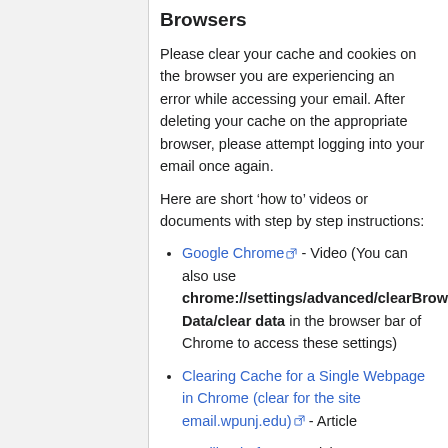Browsers
Please clear your cache and cookies on the browser you are experiencing an error while accessing your email. After deleting your cache on the appropriate browser, please attempt logging into your email once again.
Here are short ‘how to’ videos or documents with step by step instructions:
Google Chrome - Video (You can also use chrome://settings/advanced/clearBrowsing Data/clear data in the browser bar of Chrome to access these settings)
Clearing Cache for a Single Webpage in Chrome (clear for the site email.wpunj.edu) - Article
Mozilla Firefox - Article